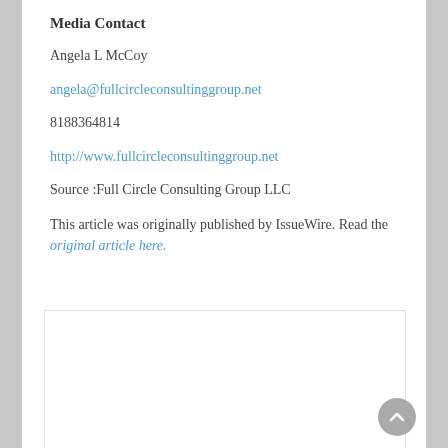Media Contact
Angela L McCoy
angela@fullcircleconsultinggroup.net
8188364814
http://www.fullcircleconsultinggroup.net
Source :Full Circle Consulting Group LLC
This article was originally published by IssueWire. Read the original article here.